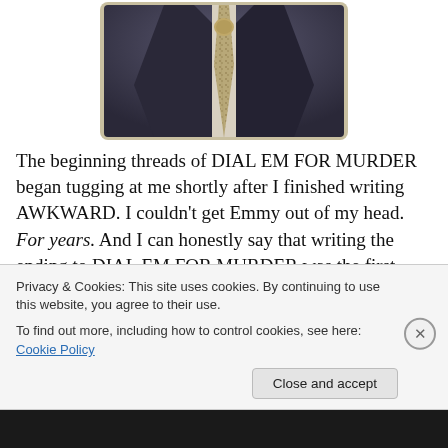[Figure (photo): A person wearing a dark suit jacket and a patterned light-colored tie, photo cropped at the neck/chest area, sepia/vintage style photo with rounded corners]
The beginning threads of DIAL EM FOR MURDER began tugging at me shortly after I finished writing AWKWARD. I couldn't get Emmy out of my head. For years. And I can honestly say that writing the ending to DIAL EM FOR MURDER was the first time I've ever done the Happy Dance of Author Joy in Starbucks, gone out for celebratory
Privacy & Cookies: This site uses cookies. By continuing to use this website, you agree to their use.
To find out more, including how to control cookies, see here: Cookie Policy
Close and accept